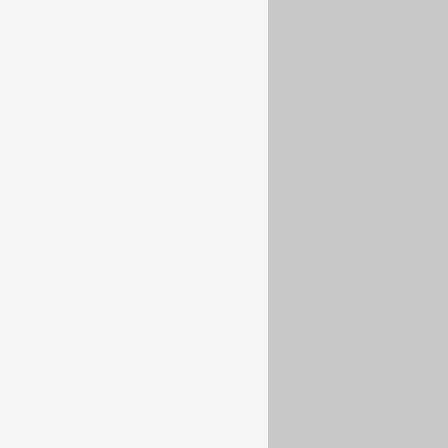e Museum in Lefkosia, Nicosia) within the contains the
Λευκωσίας Municipality
bital in Europe
l, while others by providing sed.
Notice [external link icon]
e of Visual Arts and Research (CVAR)
tre of Visual Arts and Research (CVAR), located on Ermou Street...
The